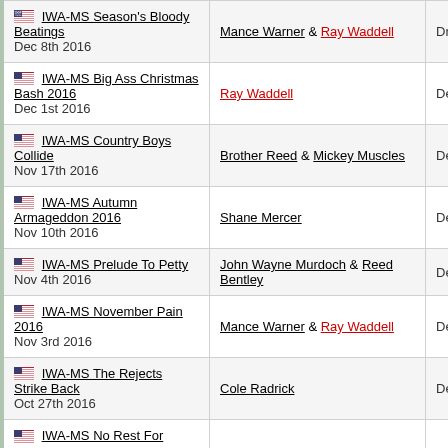| Event | Opponent | Result |
| --- | --- | --- |
| IWA-MS Season's Bloody Beatings
Dec 8th 2016 | Mance Warner & Ray Waddell | Draw (NC |
| IWA-MS Big Ass Christmas Bash 2016
Dec 1st 2016 | Ray Waddell | Def. |
| IWA-MS Country Boys Collide
Nov 17th 2016 | Brother Reed & Mickey Muscles | Def. |
| IWA-MS Autumn Armageddon 2016
Nov 10th 2016 | Shane Mercer | Def. |
| IWA-MS Prelude To Petty
Nov 4th 2016 | John Wayne Murdoch & Reed Bentley | Def. |
| IWA-MS November Pain 2016
Nov 3rd 2016 | Mance Warner & Ray Waddell | Def. |
| IWA-MS The Rejects Strike Back
Oct 27th 2016 | Cole Radrick | Def. |
| IWA-MS No Rest For... |  |  |